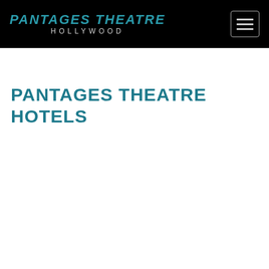PANTAGES THEATRE HOLLYWOOD
PANTAGES THEATRE HOTELS